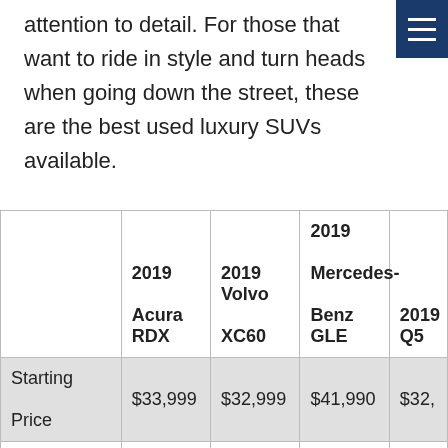attention to detail. For those that want to ride in style and turn heads when going down the street, these are the best used luxury SUVs available.
|  | 2019 Acura RDX | 2019 Volvo XC60 | 2019 Mercedes-Benz GLE | 2019 Q5 |
| --- | --- | --- | --- | --- |
| Starting Price | $33,999 | $32,999 | $41,990 | $32,… |
| Fuel Consumption (Combined) | 9.4 L/100km | 9.2 L/100km | 11.7 L/100km | 9.6 L/10… |